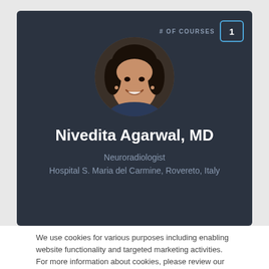[Figure (photo): Profile card with circular portrait photo of Nivedita Agarwal MD on dark background, with # OF COURSES badge showing 1]
Nivedita Agarwal, MD
Neuroradiologist
Hospital S. Maria del Carmine, Rovereto, Italy
We use cookies for various purposes including enabling website functionality and targeted marketing activities. For more information about cookies, please review our Privacy Policy.
Okay